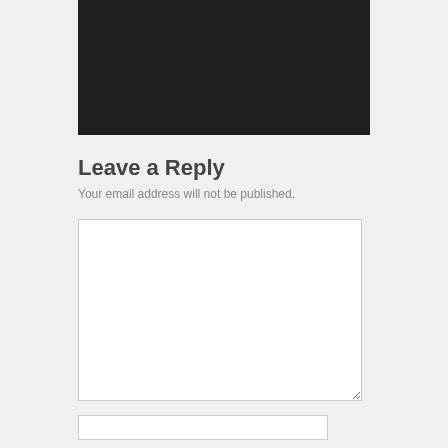[Figure (photo): Dark/black image area at top of page, partially cropped]
Leave a Reply
Your email address will not be published.
[Figure (screenshot): Large empty comment text area input box with resize handle]
[Figure (screenshot): Small empty text input field at bottom]